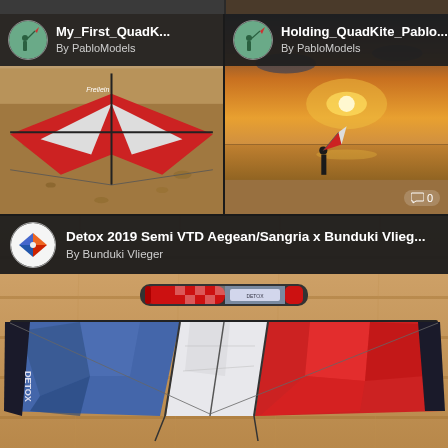[Figure (photo): Top strip: partially visible image thumbnails cropped at top of page]
[Figure (photo): Card 1: My_First_QuadK... by PabloModels — photo of a red and white quad kite laid flat on sandy ground]
[Figure (photo): Card 2: Holding_QuadKite_Pablo... by PabloModels — sunset photo of person holding a kite on a beach, comment badge showing 0]
[Figure (photo): Large card: Detox 2019 Semi VTD Aegean/Sangria x Bunduki Vlieg... by Bunduki Vlieger — overhead photo of large blue, white and red quad kite laid on wooden floor with bag above it]